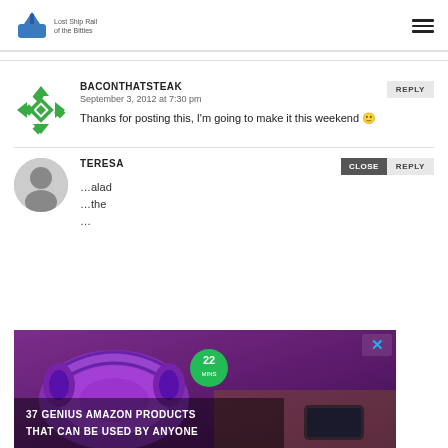Lost Ship Rail of the Bitties [logo] [hamburger menu]
BACONTHATSTEAK
September 3, 2012 at 7:30 pm
Thanks for posting this, I'm going to make it this weekend 🙂
TERESA
[CLOSE] [REPLY]
[Figure (screenshot): Advertisement overlay showing purple headphones on a wooden table with a '22' green badge and text '37 GENIUS AMAZON PRODUCTS THAT CAN BE USED BY ANYONE', with a blue X close button in top right.]